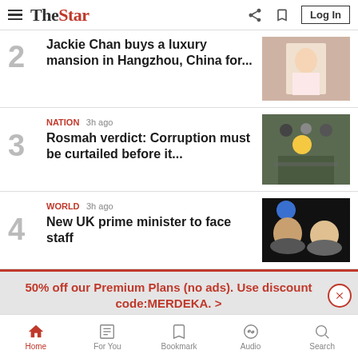The Star — Log In
2 Jackie Chan buys a luxury mansion in Hangzhou, China for...
3 NATION 3h ago Rosmah verdict: Corruption must be curtailed before it...
4 WORLD 3h ago New UK prime minister to face staff
50% off our Premium Plans (no ads). Use discount code:MERDEKA. >
Home   For You   Bookmark   Audio   Search